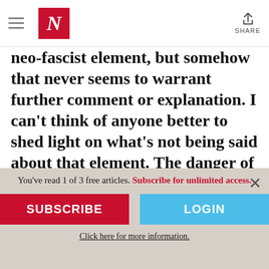The Nation — mobile web header with hamburger menu, N logo, and Share button
neo-fascist element, but somehow that never seems to warrant further comment or explanation. I can't think of anyone better to shed light on what's not being said about that element. The danger of Russian belligerence is increasingly obvious, but this unexamined fascist element poses dangers of its own. What can you tell us about this element and
You've read 1 of 3 free articles. Subscribe for unlimited access.
SUBSCRIBE
LOGIN
Click here for more information.